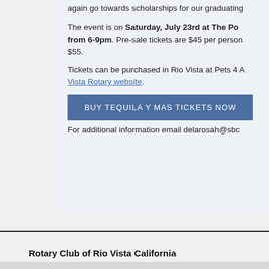again go towards scholarships for our graduating
The event is on Saturday, July 23rd at The Po from 6-9pm. Pre-sale tickets are $45 per person $55.
Tickets can be purchased in Rio Vista at Pets 4 A Vista Rotary website.
BUY TEQUILA Y MAS TICKETS NOW
For additional information email delarosah@sbc
Rotary Club of Rio Vista California